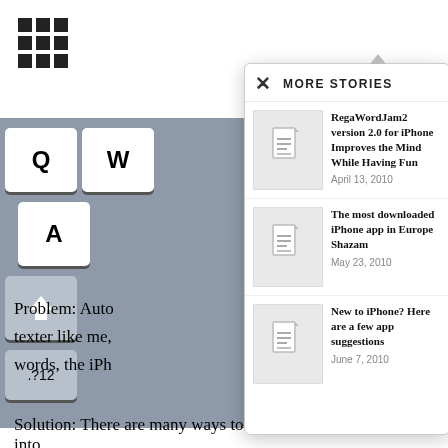[Figure (screenshot): Grid/apps icon in top-left corner of a mobile webpage]
[Figure (screenshot): iPhone keyboard showing Q, W keys, A key, shift key, and .?123 key on dark gray background]
Problem: Auto texter like me, words, the iPh
[Figure (screenshot): More Stories overlay panel with close X button and three story items]
MORE STORIES
RegaWordJam2 version 2.0 for iPhone Improves the Mind While Having Fun
April 13, 2010
The most downloaded iPhone app in Europe Shazam
May 23, 2010
New to iPhone? Here are a few app suggestions
June 7, 2010
Solution: There are many ways to try and trick your iPhone into